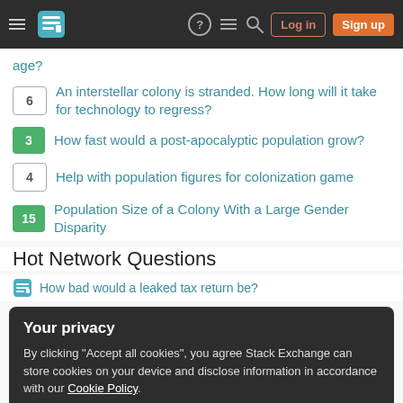Stack Exchange navigation bar with Log in and Sign up buttons
6 — An interstellar colony is stranded. How long will it take for technology to regress?
3 — How fast would a post-apocalyptic population grow?
4 — Help with population figures for colonization game
15 — Population Size of a Colony With a Large Gender Disparity
Hot Network Questions
How bad would a leaked tax return be?
Your privacy
By clicking "Accept all cookies", you agree Stack Exchange can store cookies on your device and disclose information in accordance with our Cookie Policy.
What's the story behind kobolds being little lizards?